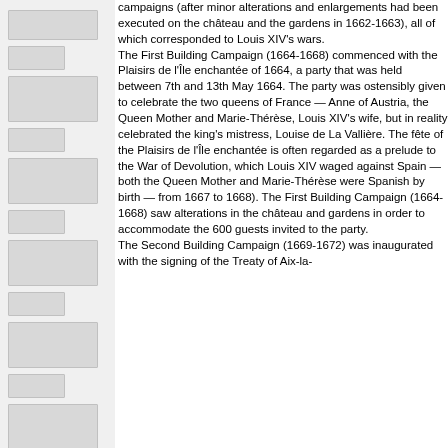campaigns (after minor alterations and enlargements had been executed on the château and the gardens in 1662-1663), all of which corresponded to Louis XIV's wars. The First Building Campaign (1664-1668) commenced with the Plaisirs de l'Île enchantée of 1664, a party that was held between 7th and 13th May 1664. The party was ostensibly given to celebrate the two queens of France — Anne of Austria, the Queen Mother and Marie-Thérèse, Louis XIV's wife, but in reality celebrated the king's mistress, Louise de La Vallière. The fête of the Plaisirs de l'Île enchantée is often regarded as a prelude to the War of Devolution, which Louis XIV waged against Spain — both the Queen Mother and Marie-Thérèse were Spanish by birth — from 1667 to 1668). The First Building Campaign (1664-1668) saw alterations in the château and gardens in order to accommodate the 600 guests invited to the party. The Second Building Campaign (1669-1672) was inaugurated with the signing of the Treaty of Aix-la-